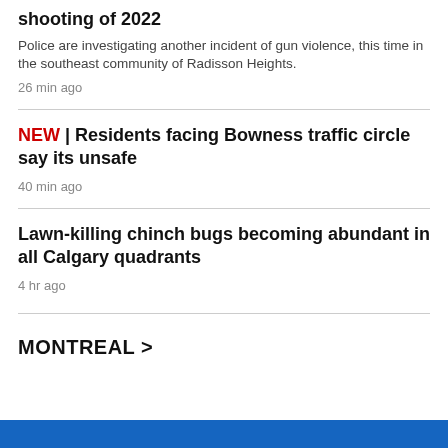shooting of 2022
Police are investigating another incident of gun violence, this time in the southeast community of Radisson Heights.
26 min ago
NEW | Residents facing Bowness traffic circle say its unsafe
40 min ago
Lawn-killing chinch bugs becoming abundant in all Calgary quadrants
4 hr ago
MONTREAL >